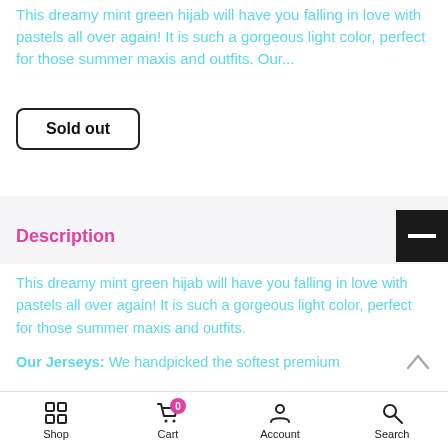This dreamy mint green hijab will have you falling in love with pastels all over again! It is such a gorgeous light color, perfect for those summer maxis and outfits. Our...
Sold out
Description
This dreamy mint green hijab will have you falling in love with pastels all over again! It is such a gorgeous light color, perfect for those summer maxis and outfits.
Our Jerseys: We handpicked the softest premium
Shop  Cart  Account  Search